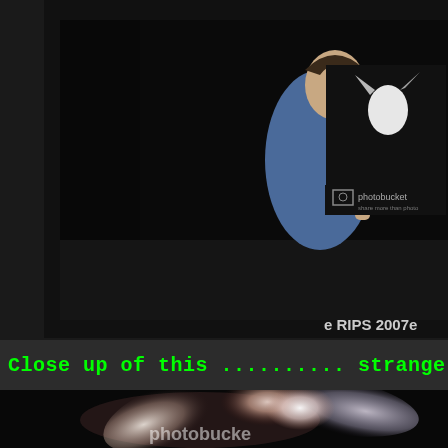[Figure (photo): Nighttime photo showing a person in a blue jacket viewed from the side, holding a phone, against a dark background. A second smaller photo thumbnail is visible in the upper right showing a bright light against dark background, with a Photobucket watermark. Text 'e RIPS 2007' visible near bottom right.]
Close up of this .......... strange bug / fair
[Figure (photo): Close up blurry photo of a strange glowing insect or fairy-like object with wing-like appendages glowing white/pink against a very dark background. Photobucket watermark visible at bottom.]